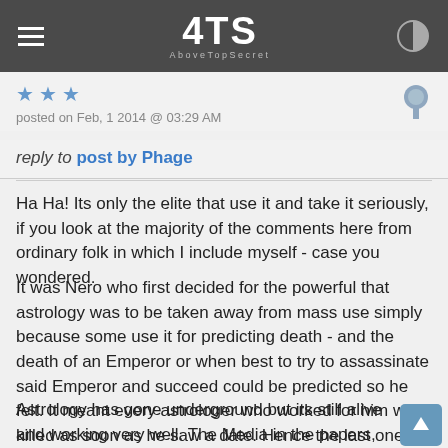ATS AboveTopSecret
posted on Feb, 1 2014 @ 03:29 AM
reply to post by Phage
Ha Ha! Its only the elite that use it and take it seriously, if you look at the majority of the comments here from ordinary folk in which I include myself - case you wondered.
It was Nero who first decided for the powerful that astrology was to be taken away from mass use simply because some use it for predicting death - and the death of an Emperor or when best to try to assassinate said Emperor and succeed could be predicted so he felt. It meant every astrologer who worked for him was killed as soon as he saw a date. Hence the last one told him he would die after his astrologer did.
Astrology has gone underground but its still alive and working very well. The Media in the papers, online and magazines etc ensure its ridiculed by their sun sign articles which do a very